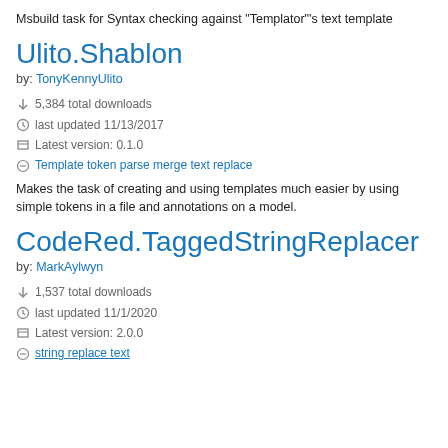Msbuild task for Syntax checking against "Templator"'s text template
Ulito.Shablon
by: TonyKennyUlito
5,384 total downloads
last updated 11/13/2017
Latest version: 0.1.0
Template token parse merge text replace
Makes the task of creating and using templates much easier by using simple tokens in a file and annotations on a model.
CodeRed.TaggedStringReplacer
by: MarkAylwyn
1,537 total downloads
last updated 11/1/2020
Latest version: 2.0.0
string replace text